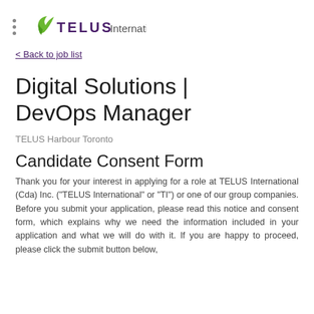TELUS International
< Back to job list
Digital Solutions | DevOps Manager
TELUS Harbour Toronto
Candidate Consent Form
Thank you for your interest in applying for a role at TELUS International (Cda) Inc. (“TELUS International” or “TI”) or one of our group companies. Before you submit your application, please read this notice and consent form, which explains why we need the information included in your application and what we will do with it. If you are happy to proceed, please click the submit button below,